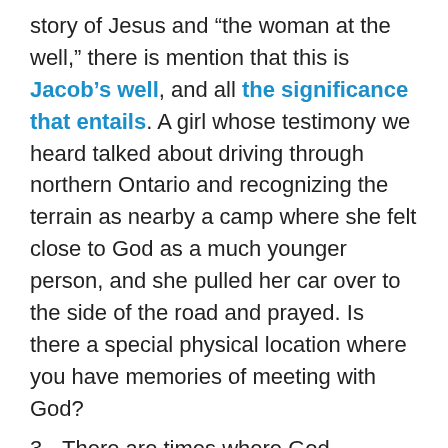story of Jesus and “the woman at the well,” there is mention that this is Jacob’s well, and all the significance that entails. A girl whose testimony we heard talked about driving through northern Ontario and recognizing the terrain as nearby a camp where she felt close to God as a much younger person, and she pulled her car over to the side of the road and prayed. Is there a special physical location where you have memories of meeting with God?
3. There are times where God instructed his people to construct a memorial. Joshua 4:9 reads, “Joshua set up the twelve stones that had been in the middle of the Jordan at the spot where the priests who carried the ark of the covenant had stood. And they are there to this day.” While many Christian facilities have plaques that honor the donors who gave money